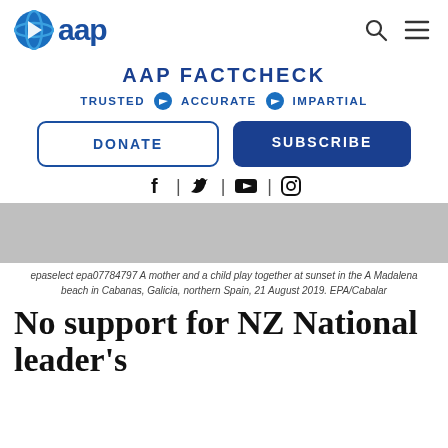[Figure (logo): AAP logo — blue globe icon with 'aap' text in blue]
[Figure (other): Navigation icons: search (magnifying glass) and hamburger menu]
AAP FACTCHECK
TRUSTED  ACCURATE  IMPARTIAL
DONATE
SUBSCRIBE
[Figure (other): Social media icons row: Facebook, Twitter, YouTube, Instagram]
[Figure (photo): Gray placeholder image area for a beach/sunset photo]
epaselect epa07784797 A mother and a child play together at sunset in the A Madalena beach in Cabanas, Galicia, northern Spain, 21 August 2019. EPA/Cabalar
No support for NZ National leader's